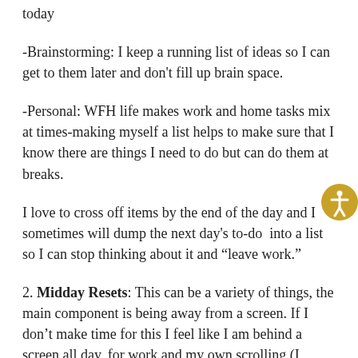today
-Brainstorming: I keep a running list of ideas so I can get to them later and don't fill up brain space.
-Personal: WFH life makes work and home tasks mix at times-making myself a list helps to make sure that I know there are things I need to do but can do them at breaks.
I love to cross off items by the end of the day and I sometimes will dump the next day's to-do  into a list so I can stop thinking about it and “leave work.”
2. Midday Resets: This can be a variety of things, the main component is being away from a screen. If I don’t make time for this I feel like I am behind a screen all day, for work and my own scrolling (I